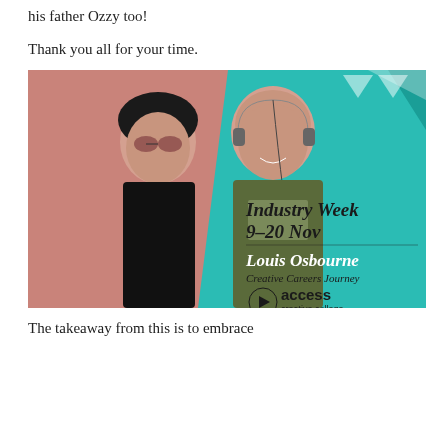his father Ozzy too!
Thank you all for your time.
[Figure (photo): Promotional image for Access Creative College Industry Week 9-20 Nov featuring Louis Osbourne's Creative Careers Journey. Shows two men (one older with sunglasses and dark hair, one younger and bald with headphones around his neck) against a pink/salmon background on the left, and a teal/turquoise background on the right with text: 'Industry Week 9-20 Nov', 'Louis Osbourne', 'Creative Careers Journey', and the Access Creative College logo.]
The takeaway from this is to embrace